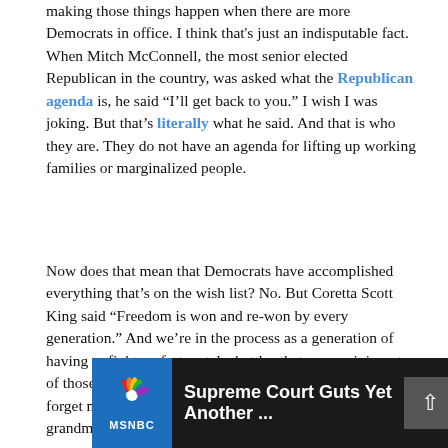making those things happen when there are more Democrats in office. I think that's just an indisputable fact. When Mitch McConnell, the most senior elected Republican in the country, was asked what the Republican agenda is, he said "I'll get back to you." I wish I was joking. But that's literally what he said. And that is who they are. They do not have an agenda for lifting up working families or marginalized people.
Now does that mean that Democrats have accomplished everything that's on the wish list? No. But Coretta Scott King said "Freedom is won and re-won by every generation." And we're in the process as a generation of having to fight, unfortunately, battles that are reminiscent of those that our grandparents and parents fought. I'll never forget my grandmother calling me in 2019, crying. And my grandmother's tough as hell.
[Figure (screenshot): MSNBC video thumbnail with dark background showing headline 'Supreme Court Guts Yet Another ...' with MSNBC logo on the left and a scroll-to-top button on the right]